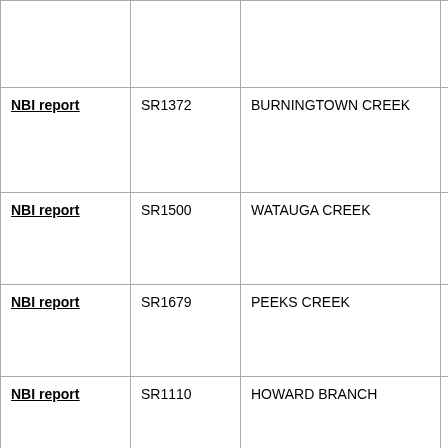|  | Route | Feature | Location |
| --- | --- | --- | --- |
| NBI report | SR1372 | BURNINGTOWN CREEK | .3 MI.S.JCT |
| NBI report | SR1500 | WATAUGA CREEK | .3 MI.W.JCT 441 |
| NBI report | SR1679 | PEEKS CREEK | 50 FT.N.JCT |
| NBI report | SR1110 | HOWARD BRANCH | 0.1 MI.S.JCT.S |
| NBI report | SR1608 | BIG CREEK | 2.65 MI.S.JCT.S |
| NBI report | NFSR 440 | BIG CHOGA CREEK | 6.2 MI. N. J 1307 |
| NBI report | SR1653 | HICKORY KNOLL CREEK | .05 MI.S.JCT |